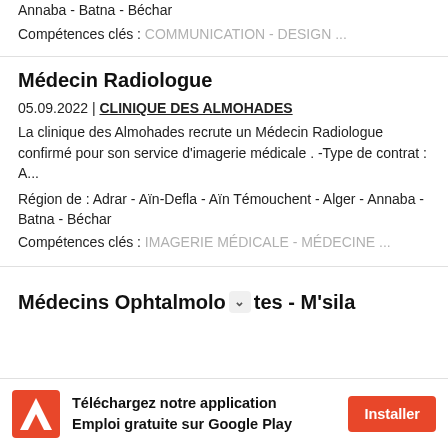Annaba - Batna - Béchar
Compétences clés : COMMUNICATION - DESIGN ...
Médecin Radiologue
05.09.2022 | CLINIQUE DES ALMOHADES
La clinique des Almohades recrute un Médecin Radiologue confirmé pour son service d'imagerie médicale .  -Type de contrat : A...
Région de : Adrar - Aïn-Defla - Aïn Témouchent - Alger - Annaba - Batna - Béchar
Compétences clés : IMAGERIE MÉDICALE - MÉDECINE ...
Médecins Ophtalmologtes - M'sila
Téléchargez notre application Emploi gratuite sur Google Play
Installer